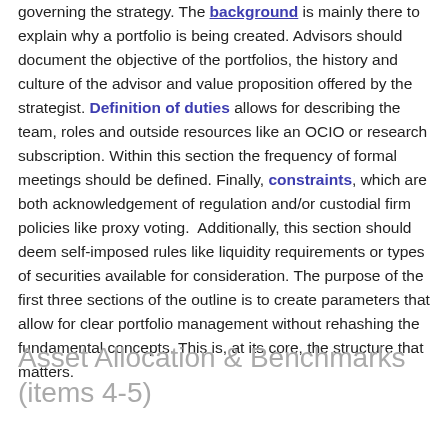governing the strategy. The background is mainly there to explain why a portfolio is being created. Advisors should document the objective of the portfolios, the history and culture of the advisor and value proposition offered by the strategist. Definition of duties allows for describing the team, roles and outside resources like an OCIO or research subscription. Within this section the frequency of formal meetings should be defined. Finally, constraints, which are both acknowledgement of regulation and/or custodial firm policies like proxy voting.  Additionally, this section should deem self-imposed rules like liquidity requirements or types of securities available for consideration. The purpose of the first three sections of the outline is to create parameters that allow for clear portfolio management without rehashing the fundamental concepts. This is, at its core, the structure that matters.
Asset Allocation & Benchmarks (items 4-5)